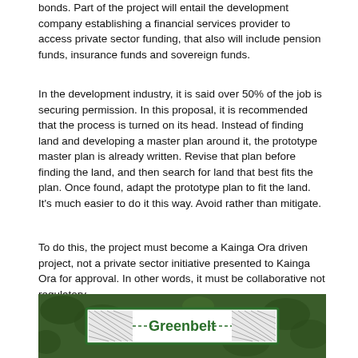bonds. Part of the project will entail the development company establishing a financial services provider to access private sector funding, that also will include pension funds, insurance funds and sovereign funds.
In the development industry, it is said over 50% of the job is securing permission. In this proposal, it is recommended that the process is turned on its head. Instead of finding land and developing a master plan around it, the prototype master plan is already written. Revise that plan before finding the land, and then search for land that best fits the plan. Once found, adapt the prototype plan to fit the land. It's much easier to do it this way. Avoid rather than mitigate.
To do this, the project must become a Kainga Ora driven project, not a private sector initiative presented to Kainga Ora for approval. In other words, it must be collaborative not regulatory.
[Figure (photo): Aerial or outdoor photograph showing a green background with a Greenbelt sign — white rectangular sign with green border and green text reading 'Greenbelt', flanked by crosshatch pattern panels on each side.]